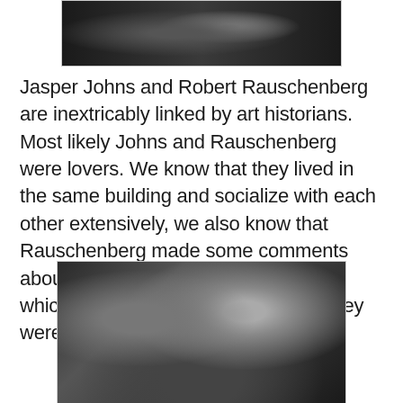[Figure (photo): Black and white photograph partially visible at top of page, showing two people in close proximity]
Jasper Johns and Robert Rauschenberg are inextricably linked by art historians. Most likely Johns and Rauschenberg were lovers. We know that they lived in the same building and socialize with each other extensively, we also know that Rauschenberg made some comments about his relationship to Jasper Johns which is pretty strong evidence that they were.
[Figure (photo): Black and white photograph of two men sitting at a table, one looking at the other who is looking down at the table]